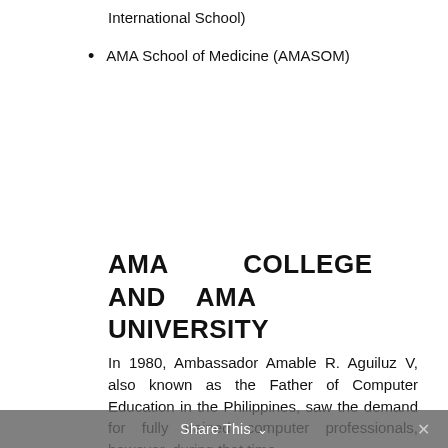International School)
AMA School of Medicine (AMASOM)
AMA COLLEGE AND AMA UNIVERSITY
In 1980, Ambassador Amable R. Aguiluz V, also known as the Father of Computer Education in the Philippines, saw the demand for fully trained computer professionals, however, during that time,